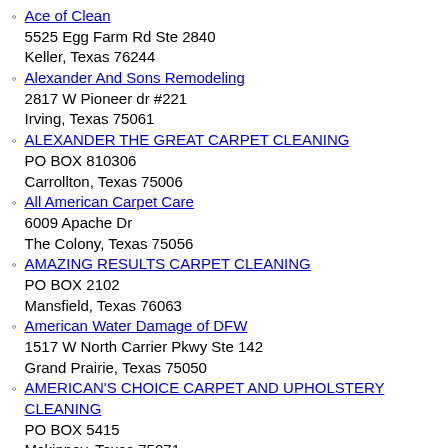Ace of Clean
5525 Egg Farm Rd Ste 2840
Keller, Texas 76244
Alexander And Sons Remodeling
2817 W Pioneer dr #221
Irving, Texas 75061
ALEXANDER THE GREAT CARPET CLEANING
PO BOX 810306
Carrollton, Texas 75006
All American Carpet Care
6009 Apache Dr
The Colony, Texas 75056
AMAZING RESULTS CARPET CLEANING
PO BOX 2102
Mansfield, Texas 76063
American Water Damage of DFW
1517 W North Carrier Pkwy Ste 142
Grand Prairie, Texas 75050
AMERICAN'S CHOICE CARPET AND UPHOLSTERY CLEANING
PO BOX 5415
Mckinney, Texas 75071
Angelic Restoration
403 Powerhouse Ste 312
Mckinney, Texas 75071